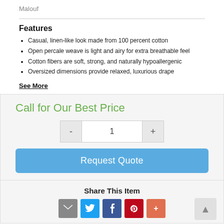Malouf
Features
Casual, linen-like look made from 100 percent cotton
Open percale weave is light and airy for extra breathable feel
Cotton fibers are soft, strong, and naturally hypoallergenic
Oversized dimensions provide relaxed, luxurious drape
See More
Call for Our Best Price
1
Request Quote
Share This Item